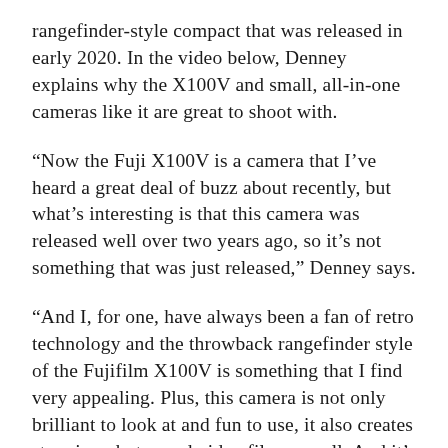rangefinder-style compact that was released in early 2020. In the video below, Denney explains why the X100V and small, all-in-one cameras like it are great to shoot with.
“Now the Fuji X100V is a camera that I’ve heard a great deal of buzz about recently, but what’s interesting is that this camera was released well over two years ago, so it’s not something that was just released,” Denney says.
“And I, for one, have always been a fan of retro technology and the throwback rangefinder style of the Fujifilm X100V is something that I find very appealing. Plus, this camera is not only brilliant to look at and fun to use, it also creates stunning photos and video files as well. And it’s the perfect